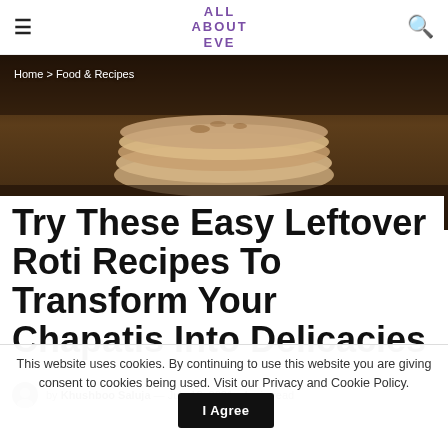ALL ABOUT EVE
Home > Food & Recipes
[Figure (photo): Dark background hero photo showing stacked chapatis/rotis on a surface]
Try These Easy Leftover Roti Recipes To Transform Your Chapatis Into Delicacies
by Khushboo Saluja — July 12, 2021 · 4 min read
This website uses cookies. By continuing to use this website you are giving consent to cookies being used. Visit our Privacy and Cookie Policy.   I Agree